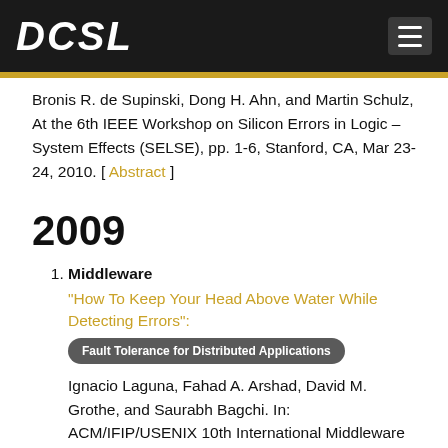DCSL
Bronis R. de Supinski, Dong H. Ahn, and Martin Schulz, At the 6th IEEE Workshop on Silicon Errors in Logic – System Effects (SELSE), pp. 1-6, Stanford, CA, Mar 23-24, 2010. [ Abstract ]
2009
Middleware
"How To Keep Your Head Above Water While Detecting Errors":
Fault Tolerance for Distributed Applications
Ignacio Laguna, Fahad A. Arshad, David M. Grothe, and Saurabh Bagchi. In: ACM/IFIP/USENIX 10th International Middleware Conference, November 30-December 4, 2009, Urbana-Champaign, Illinois,